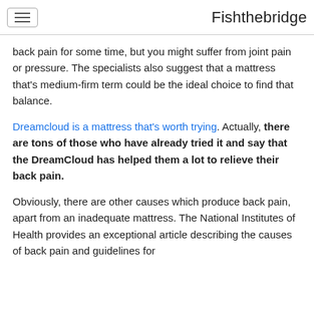Fishthebridge
back pain for some time, but you might suffer from joint pain or pressure. The specialists also suggest that a mattress that's medium-firm term could be the ideal choice to find that balance.
Dreamcloud is a mattress that's worth trying. Actually, there are tons of those who have already tried it and say that the DreamCloud has helped them a lot to relieve their back pain.
Obviously, there are other causes which produce back pain, apart from an inadequate mattress. The National Institutes of Health provides an exceptional article describing the causes of back pain and guidelines for